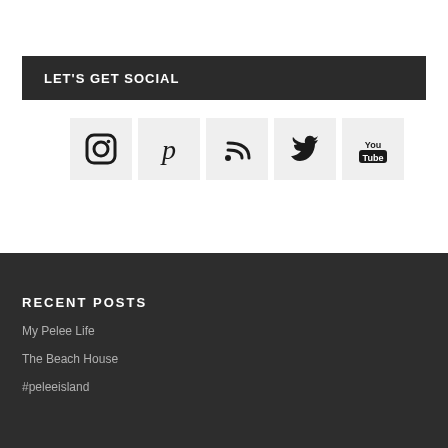LET'S GET SOCIAL
[Figure (infographic): Five social media icon boxes in a row: Instagram, Pinterest, RSS feed, Twitter, YouTube]
RECENT POSTS
My Pelee Life
The Beach House
#peleeisland